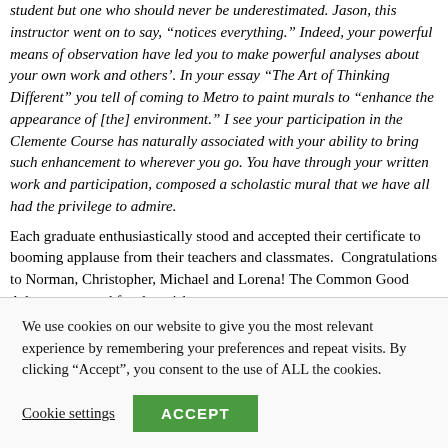student but one who should never be underestimated. Jason, this instructor went on to say, "notices everything." Indeed, your powerful means of observation have led you to make powerful analyses about your own work and others'. In your essay "The Art of Thinking Different" you tell of coming to Metro to paint murals to "enhance the appearance of [the] environment." I see your participation in the Clemente Course has naturally associated with your ability to bring such enhancement to wherever you go. You have through your written work and participation, composed a scholastic mural that we have all had the privilege to admire.
Each graduate enthusiastically stood and accepted their certificate to booming applause from their teachers and classmates.  Congratulations to Norman, Christopher, Michael and Lorena! The Common Good Atlanta team and faculty wish
We use cookies on our website to give you the most relevant experience by remembering your preferences and repeat visits. By clicking “Accept”, you consent to the use of ALL the cookies.
Cookie settings | ACCEPT